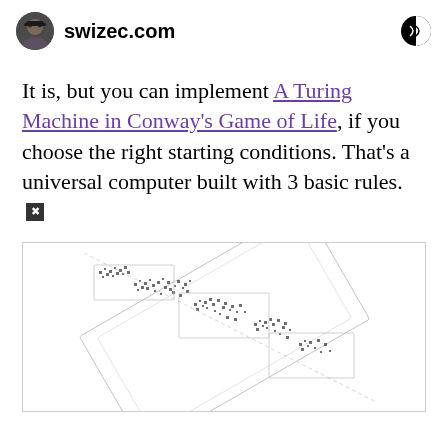swizec.com
It is, but you can implement A Turing Machine in Conway's Game of Life, if you choose the right starting conditions. That's a universal computer built with 3 basic rules. 🔲
[Figure (other): A technical diagram of a Turing Machine implemented in Conway's Game of Life, showing a complex arrangement of cells in a diagonal pattern with various components and structures.]